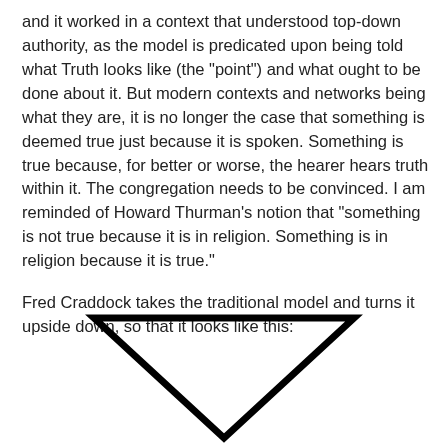and it worked in a context that understood top-down authority, as the model is predicated upon being told what Truth looks like (the "point") and what ought to be done about it. But modern contexts and networks being what they are, it is no longer the case that something is deemed true just because it is spoken. Something is true because, for better or worse, the hearer hears truth within it. The congregation needs to be convinced. I am reminded of Howard Thurman's notion that "something is not true because it is in religion. Something is in religion because it is true."
Fred Craddock takes the traditional model and turns it upside down, so that it looks like this:
[Figure (illustration): An inverted triangle (pointing downward) drawn with thick black lines, representing Fred Craddock's upside-down model of the traditional sermon structure.]